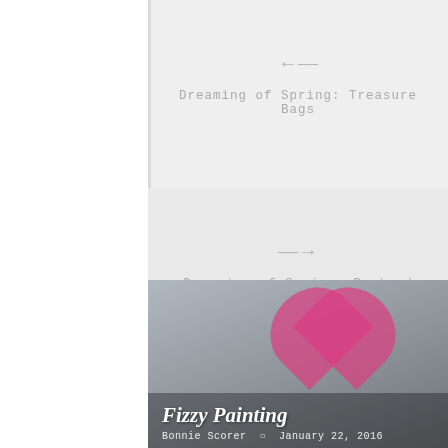← Dreaming of Spring: Treasure Bags
→ Dreaming of Spring: Pretend Playscapes
RELATED POSTS
[Figure (photo): Child holding a large pink painted heart cutout on a string, smiling. Image for blog post 'Fizzy Painting' by Bonnie Scorer, January 22, 2016.]